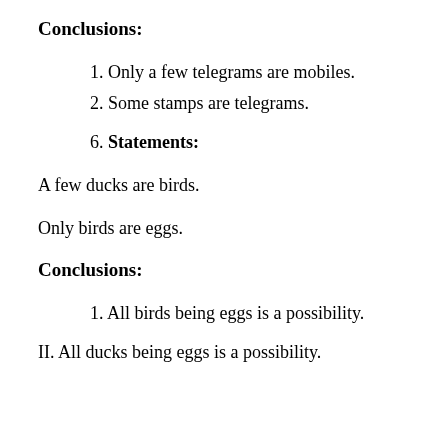Conclusions:
1. Only a few telegrams are mobiles.
2. Some stamps are telegrams.
6. Statements:
A few ducks are birds.
Only birds are eggs.
Conclusions:
1. All birds being eggs is a possibility.
II. All ducks being eggs is a possibility.